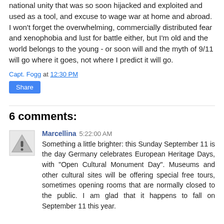national unity that was so soon hijacked and exploited and used as a tool, and excuse to wage war at home and abroad. I won't forget the overwhelming, commercially distributed fear and xenophobia and lust for battle either, but I'm old and the world belongs to the young - or soon will and the myth of 9/11 will go where it goes, not where I predict it will go.
Capt. Fogg at 12:30 PM
Share
6 comments:
Marcellina 5:22:00 AM
Something a little brighter: this Sunday September 11 is the day Germany celebrates European Heritage Days, with "Open Cultural Monument Day". Museums and other cultural sites will be offering special free tours, sometimes opening rooms that are normally closed to the public. I am glad that it happens to fall on September 11 this year.